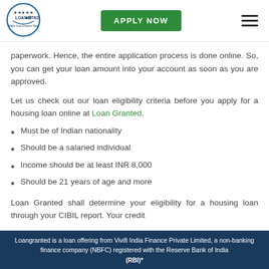[Figure (logo): Loan Granted circular logo with blue border and checkmark]
APPLY NOW
paperwork. Hence, the entire application process is done online. So, you can get your loan amount into your account as soon as you are approved.
Let us check out our loan eligibility criteria before you apply for a housing loan online at Loan Granted.
Must be of Indian nationality
Should be a salaried individual
Income should be at least INR 8,000
Should be 21 years of age and more
Loan Granted shall determine your eligibility for a housing loan through your CIBIL report. Your credit
Loangranted is a loan offering from Vivifi India Finance Private Limited, a non-banking finance company (NBFC) registered with the Reserve Bank of India (RBI)*